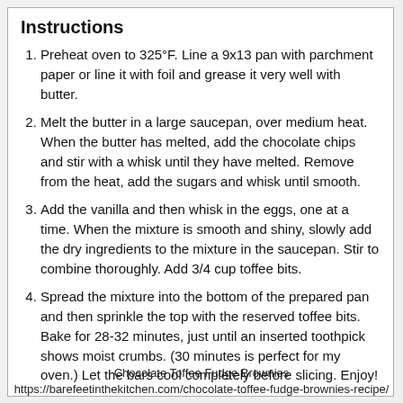Instructions
Preheat oven to 325°F. Line a 9x13 pan with parchment paper or line it with foil and grease it very well with butter.
Melt the butter in a large saucepan, over medium heat. When the butter has melted, add the chocolate chips and stir with a whisk until they have melted. Remove from the heat, add the sugars and whisk until smooth.
Add the vanilla and then whisk in the eggs, one at a time. When the mixture is smooth and shiny, slowly add the dry ingredients to the mixture in the saucepan. Stir to combine thoroughly. Add 3/4 cup toffee bits.
Spread the mixture into the bottom of the prepared pan and then sprinkle the top with the reserved toffee bits. Bake for 28-32 minutes, just until an inserted toothpick shows moist crumbs. (30 minutes is perfect for my oven.) Let the bars cool completely before slicing. Enjoy!
Chocolate Toffee Fudge Brownies https://barefeetinthekitchen.com/chocolate-toffee-fudge-brownies-recipe/